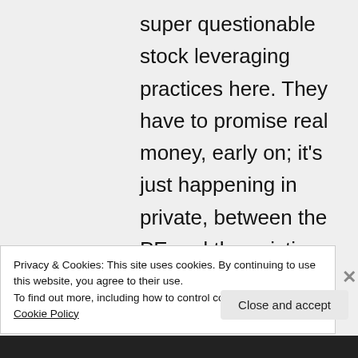super questionable stock leveraging practices here. They have to promise real money, early on; it's just happening in private, between the PE and the existing creditors very often, so it's left out of discussions like this
Privacy & Cookies: This site uses cookies. By continuing to use this website, you agree to their use. To find out more, including how to control cookies, see here: Cookie Policy